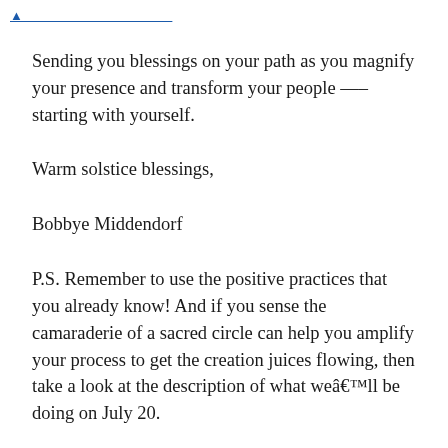[link at top]
Sending you blessings on your path as you magnify your presence and transform your people —– starting with yourself.
Warm solstice blessings,
Bobbye Middendorf
P.S. Remember to use the positive practices that you already know! And if you sense the camaraderie of a sacred circle can help you amplify your process to get the creation juices flowing, then take a look at the description of what weâ€™ll be doing on July 20.